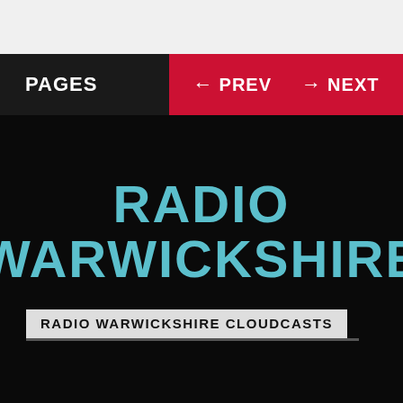PAGES  ← PREV  → NEXT
RADIO WARWICKSHIRE
RADIO WARWICKSHIRE CLOUDCASTS